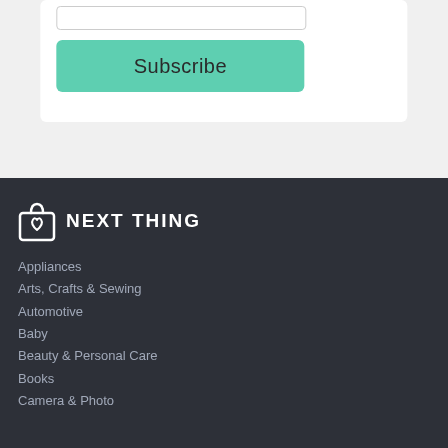[Figure (other): Subscribe button (teal/green rounded rectangle) with text 'Subscribe' inside a white card on a light gray background]
[Figure (logo): Next Thing logo: shopping bag icon with heart, beside bold white uppercase text 'NEXT THING' on dark background]
Appliances
Arts, Crafts & Sewing
Automotive
Baby
Beauty & Personal Care
Books
Camera & Photo